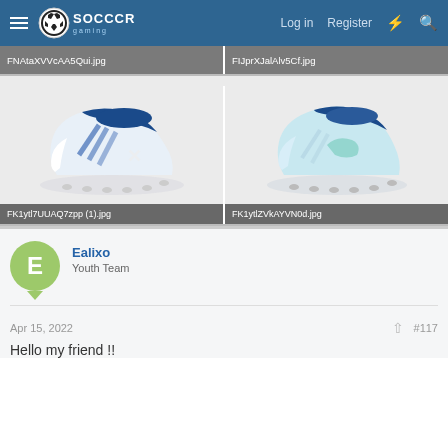Soccer Gaming — Log in | Register
[Figure (screenshot): Partial top row showing two image filenames: FNAtaXVVcAA5Qui.jpg and FIJprXJalAlv5Cf.jpg on grey bars]
[Figure (photo): Two soccer cleats side by side. Left: blue and white adidas-style cleat (FK1ytl7UUAQ7zpp (1).jpg). Right: light blue soccer cleat (FK1ytlZVkAYVN0d.jpg).]
FK1ytl7UUAQ7zpp (1).jpg
FK1ytlZVkAYVN0d.jpg
Ealixo
Youth Team
Apr 15, 2022
#117
Hello my friend !!